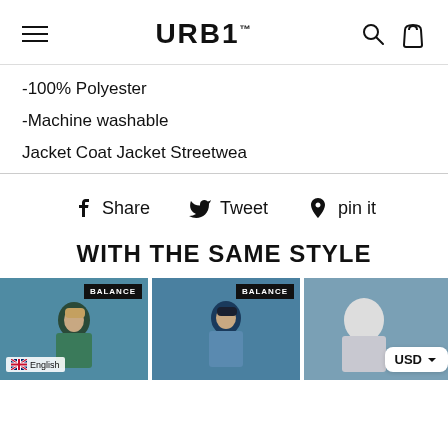URB1
-100% Polyester
-Machine washable
Jacket Coat Jacket Streetwea
Share  Tweet  pin it
WITH THE SAME STYLE
[Figure (photo): Two product cards showing men in jackets with BALANCE badge labels, and a language/currency selector overlay]